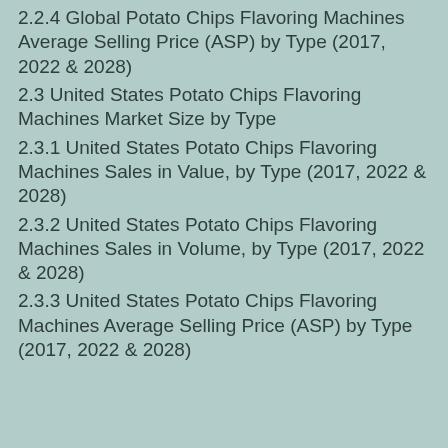2.2.4 Global Potato Chips Flavoring Machines Average Selling Price (ASP) by Type (2017, 2022 & 2028)
2.3 United States Potato Chips Flavoring Machines Market Size by Type
2.3.1 United States Potato Chips Flavoring Machines Sales in Value, by Type (2017, 2022 & 2028)
2.3.2 United States Potato Chips Flavoring Machines Sales in Volume, by Type (2017, 2022 & 2028)
2.3.3 United States Potato Chips Flavoring Machines Average Selling Price (ASP) by Type (2017, 2022 & 2028)